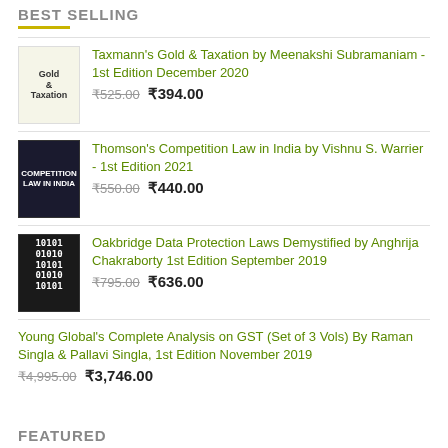BEST SELLING
Taxmann's Gold & Taxation by Meenakshi Subramaniam - 1st Edition December 2020
₹525.00  ₹394.00
Thomson's Competition Law in India by Vishnu S. Warrier - 1st Edition 2021
₹550.00  ₹440.00
Oakbridge Data Protection Laws Demystified by Anghrija Chakraborty 1st Edition September 2019
₹795.00  ₹636.00
Young Global's Complete Analysis on GST (Set of 3 Vols) By Raman Singla & Pallavi Singla, 1st Edition November 2019
₹4,995.00  ₹3,746.00
FEATURED